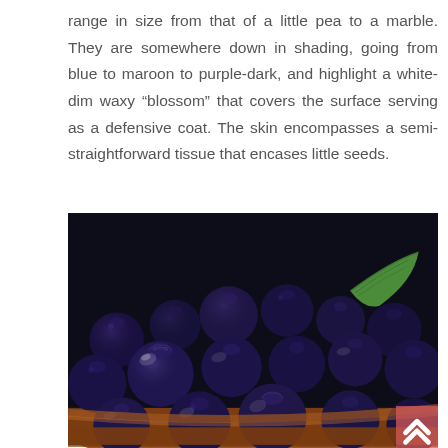range in size from that of a little pea to a marble. They are somewhere down in shading, going from blue to maroon to purple-dark, and highlight a white-dim waxy “blossom” that covers the surface serving as a defensive coat. The skin encompasses a semi-straightforward tissue that encases little seeds.
[Figure (photo): Close-up photograph of fresh blueberries piled in a wooden bowl, with a green leaf visible among the berries. The blueberries are deep blue-purple with a waxy sheen, showing their characteristic crown ends.]